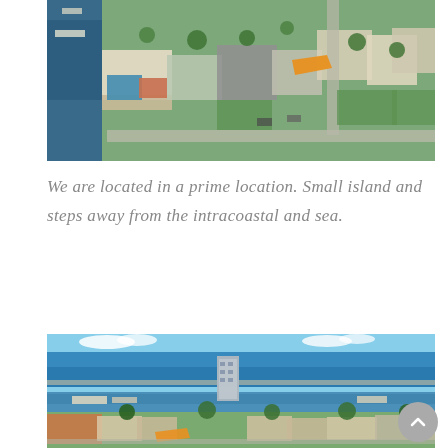[Figure (photo): Aerial view of a coastal Florida neighborhood with canals, residential homes, pools, green lawns, and streets visible from above]
We are located in a prime location. Small island and steps away from the intracoastal and sea.
[Figure (photo): Aerial view of Florida intracoastal waterway with ocean/sea in the background, residential neighborhood with homes, trees, boats, and a high-rise building visible]